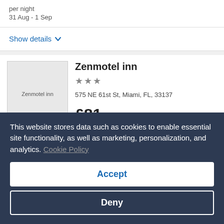per night
31 Aug - 1 Sep
Show details
Zenmotel inn
575 NE 61st St, Miami, FL, 33137
£81 per night
This website stores data such as cookies to enable essential site functionality, as well as marketing, personalization, and analytics. Cookie Policy
Accept
Deny